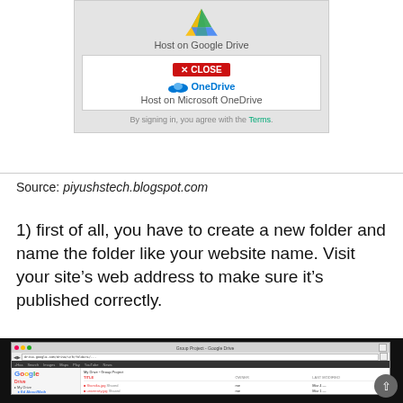[Figure (screenshot): Screenshot showing cloud hosting options: Google Drive and Microsoft OneDrive with a Close button, and terms agreement text]
Source: piyushstech.blogspot.com
1) first of all, you have to create a new folder and name the folder like your website name. Visit your site’s web address to make sure it’s published correctly.
[Figure (screenshot): Google Drive browser screenshot showing Group Project folder with files listed]